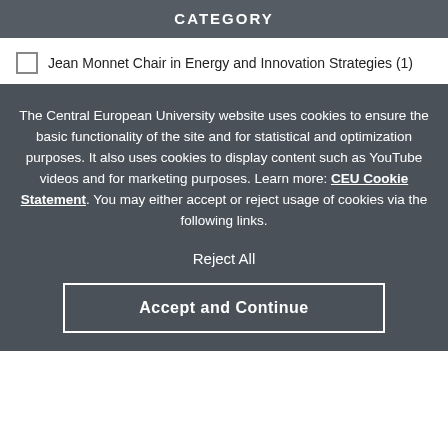CATEGORY
Jean Monnet Chair in Energy and Innovation Strategies (1)
The Central European University website uses cookies to ensure the basic functionality of the site and for statistical and optimization purposes. It also uses cookies to display content such as YouTube videos and for marketing purposes. Learn more: CEU Cookie Statement. You may either accept or reject usage of cookies via the following links.
Reject All
Accept and Continue